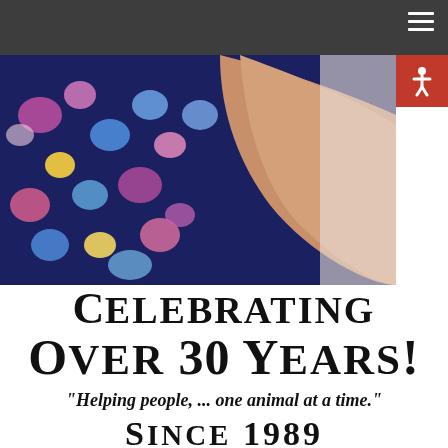Navigation header bar with hamburger menu
[Figure (photo): Partial photo of a person wearing a colorful floral top with pink, blue and yellow flowers on a dark navy background, with a tan arm visible against a light background. An accessibility icon button appears in the upper right corner.]
Celebrating Over 30 Years!
"Helping people, ... one animal at a time."
Since 1989